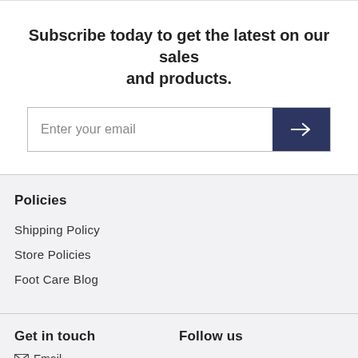Subscribe today to get the latest on our sales and products.
[Figure (other): Email subscription input field with placeholder text 'Enter your email' and a dark navy submit button with a right arrow icon]
Policies
Shipping Policy
Store Policies
Foot Care Blog
Get in touch
Follow us
Email